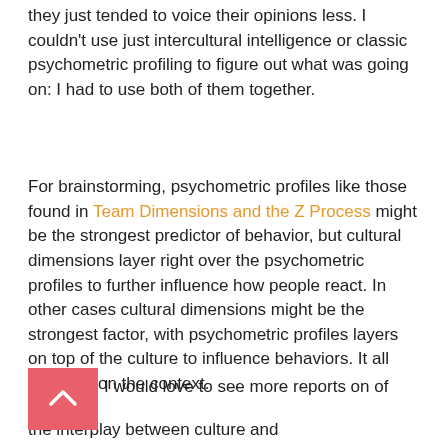they just tended to voice their opinions less. I couldn't use just intercultural intelligence or classic psychometric profiling to figure out what was going on: I had to use both of them together.
For brainstorming, psychometric profiles like those found in Team Dimensions and the Z Process might be the strongest predictor of behavior, but cultural dimensions layer right over the psychometric profiles to further influence how people react. In other cases cultural dimensions might be the strongest factor, with psychometric profiles layers on top of the culture to influence behaviors. It all depends on the context.
[Figure (other): Pink/salmon colored back-to-top button with upward chevron arrow icon]
I would love to see more reports on of the interplay between culture and